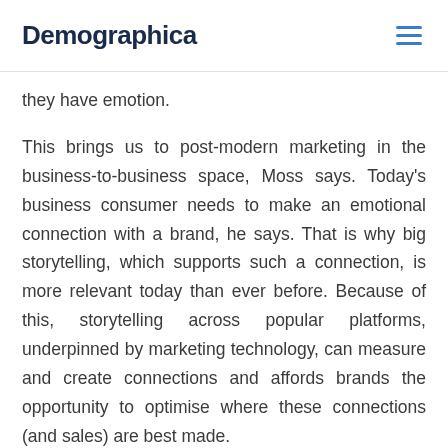Demographica
they have emotion.
This brings us to post-modern marketing in the business-to-business space, Moss says. Today's business consumer needs to make an emotional connection with a brand, he says. That is why big storytelling, which supports such a connection, is more relevant today than ever before. Because of this, storytelling across popular platforms, underpinned by marketing technology, can measure and create connections and affords brands the opportunity to optimise where these connections (and sales) are best made.
“In a pre-modern marketing world, storytelling was the order of the day. Brands could really connect with customers, but they couldn’t